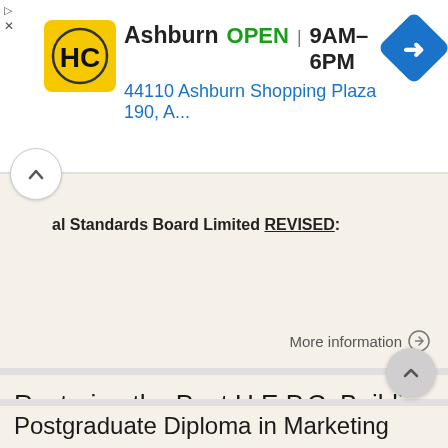[Figure (screenshot): Ad banner for HC (Home Contractors?) Ashburn location. Shows HC logo in yellow, business name Ashburn, status OPEN, hours 9AM-6PM, address 44110 Ashburn Shopping Plaza 190, A..., and a blue navigation arrow diamond icon.]
al Standards Board Limited REVISED:
More information →
Restoring the Past U.E.P.C. Building the Future
Brussels, 14.12.2010 Dear Sirs, Madam, Re: Exposure Draft Leases On behalf of the European Union of Developers and House Builders (Union Europeénne des Promoteurs-Constructeurs - UEPC), I am writing to
More information →
Postgraduate Diploma in Marketing